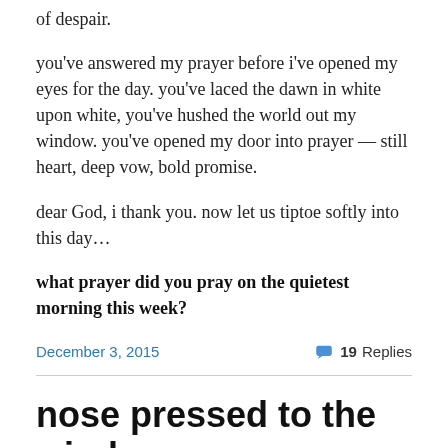of despair.
you've answered my prayer before i've opened my eyes for the day. you've laced the dawn in white upon white, you've hushed the world out my window. you've opened my door into prayer — still heart, deep vow, bold promise.
dear God, i thank you. now let us tiptoe softly into this day…
what prayer did you pray on the quietest morning this week?
December 3, 2015
19 Replies
nose pressed to the window pane